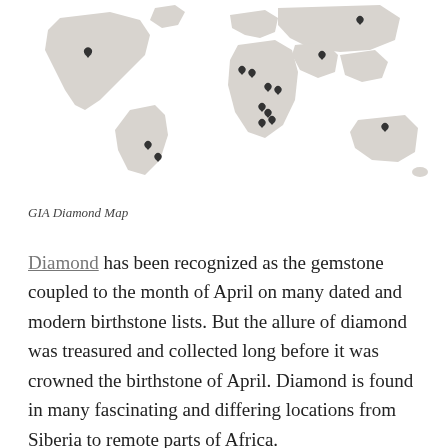[Figure (map): GIA Diamond Map showing world map with pin markers indicating diamond mining locations across South America, Africa, Russia, and Australia]
GIA Diamond Map
Diamond has been recognized as the gemstone coupled to the month of April on many dated and modern birthstone lists. But the allure of diamond was treasured and collected long before it was crowned the birthstone of April. Diamond is found in many fascinating and differing locations from Siberia to remote parts of Africa.